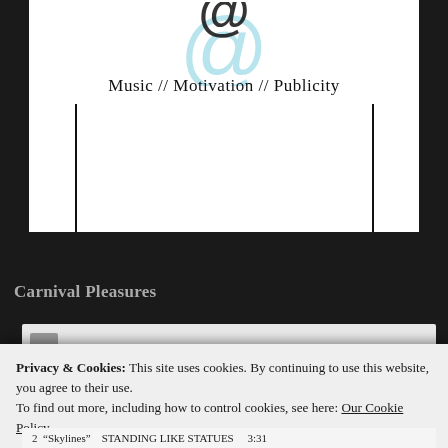[Figure (logo): Website logo with '@' symbol in light blue and text 'Music // Motivation // Publicity' below it, with a rectangular box outline frame]
Carnival Pleasures
Privacy & Cookies: This site uses cookies. By continuing to use this website, you agree to their use.
To find out more, including how to control cookies, see here: Our Cookie Policy
Close and accept
2  “Skylines”    STANDING LIKE STATUES    3:31